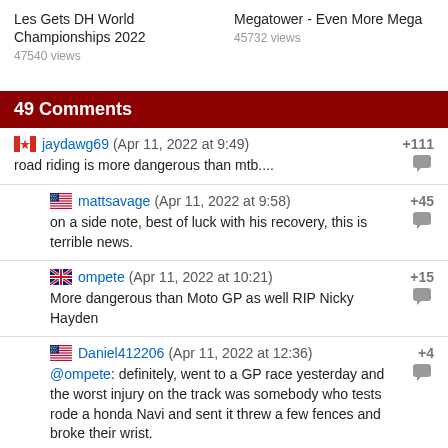Les Gets DH World Championships 2022
47540 views
Megatower - Even More Mega
45732 views
49 Comments
jaydawg69 (Apr 11, 2022 at 9:49) +111
road riding is more dangerous than mtb....
mattsavage (Apr 11, 2022 at 9:58) +45
on a side note, best of luck with his recovery, this is terrible news.
ompete (Apr 11, 2022 at 10:21) +15
More dangerous than Moto GP as well RIP Nicky Hayden
Daniel412206 (Apr 11, 2022 at 12:36) +4
@ompete: definitely, went to a GP race yesterday and the worst injury on the track was somebody who tests rode a honda Navi and sent it threw a few fences and broke their wrist.